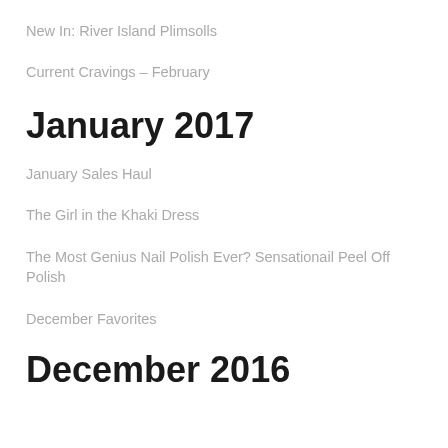New In: River Island Plimsolls
Current Cravings – February
January 2017
January Sales Haul
The Girl in the Khaki Dress
The Most Genius Nail Polish Ever? Sensationail Peel Off Polish
December Favorites
December 2016